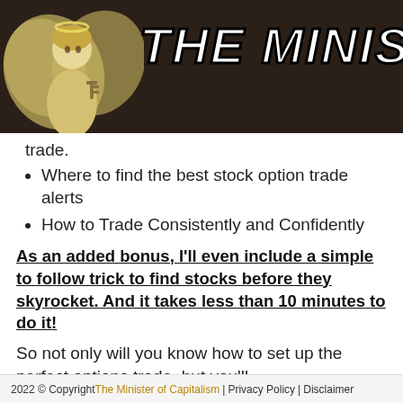THE MINIST
trade.
Where to find the best stock option trade alerts
How to Trade Consistently and Confidently
As an added bonus, I'll even include a simple to follow trick to find stocks before they skyrocket. And it takes less than 10 minutes to do it!
So not only will you know how to set up the perfect options trade, but you'll
2022 © Copyright The Minister of Capitalism | Privacy Policy | Disclaimer